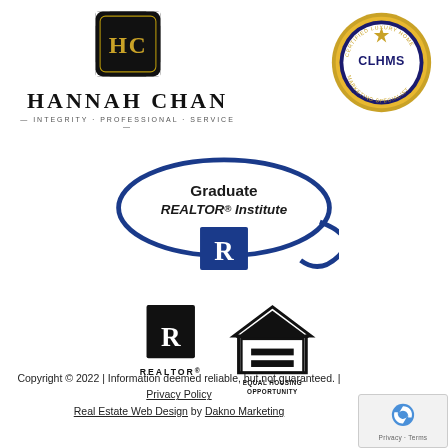[Figure (logo): Hannah Chan real estate logo with HC diamond monogram, name, and tagline Integrity Professional Service]
[Figure (logo): CLHMS Certified Luxury Home Marketing Specialist gold seal badge]
[Figure (logo): Graduate REALTOR Institute (GRI) logo with blue oval and REALTOR R symbol]
[Figure (logo): REALTOR and Equal Housing Opportunity logos side by side]
Copyright © 2022 | Information deemed reliable, but not guaranteed. | Privacy Policy
Real Estate Web Design by Dakno Marketing